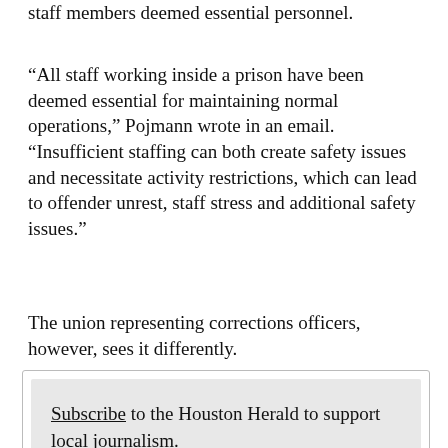staff members deemed essential personnel.
“All staff working inside a prison have been deemed essential for maintaining normal operations,” Pojmann wrote in an email. “Insufficient staffing can both create safety issues and necessitate activity restrictions, which can lead to offender unrest, staff stress and additional safety issues.”
The union representing corrections officers, however, sees it differently.
Subscribe to the Houston Herald to support local journalism.